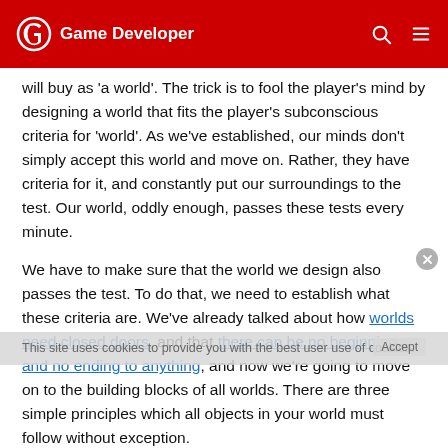Game Developer
will buy as 'a world'. The trick is to fool the player's mind by designing a world that fits the player's subconscious criteria for 'world'. As we've established, our minds don't simply accept this world and move on. Rather, they have criteria for it, and constantly put our surroundings to the test. Our world, oddly enough, passes these tests every minute.
We have to make sure that the world we design also passes the test. To do that, we need to establish what these criteria are. We've already talked about how worlds need closed doors, and that there can be no beginning and no ending to anything, and now we're going to move on to the building blocks of all worlds. There are three simple principles which all objects in your world must follow without exception.
This site uses cookies to provide you with the best user use of cookies.
Accept